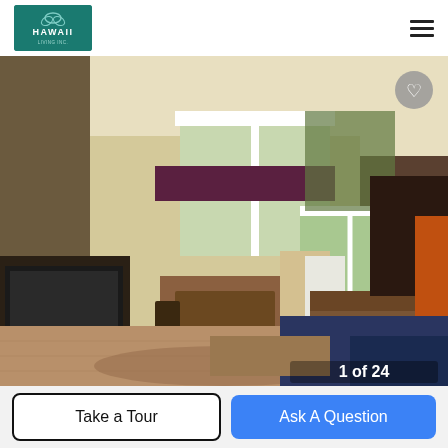[Figure (logo): Hawaii real estate company logo — teal/dark green rectangle with white stylized text HAWAII and small tagline below]
[Figure (photo): Interior living room photo of a house with vaulted ceiling, large triangular windows, hardwood floors, sofa, TV, dining area, and sliding glass door to greenery outside. Photo counter shows 1 of 24 in bottom right corner.]
Take a Tour
Ask A Question